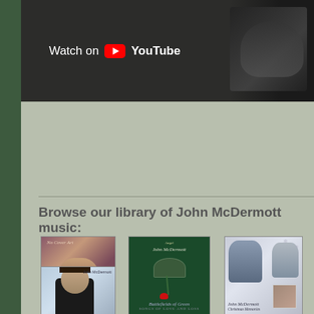[Figure (screenshot): YouTube 'Watch on YouTube' banner with dark background, person in background on right]
Browse our library of John McDermott music:
[Figure (photo): Album cover: No Cover Art - painting of figures]
[Figure (photo): Album cover: Battlefields of Green: Songs Of... - green cover with helmet and rose]
Battlefields of Green: Songs Of...
[Figure (photo): Album cover: Christmas Memories - John McDermott]
Christmas Memories
[Figure (photo): Album cover: John McDermott - self-titled or similar, man in black turtleneck]